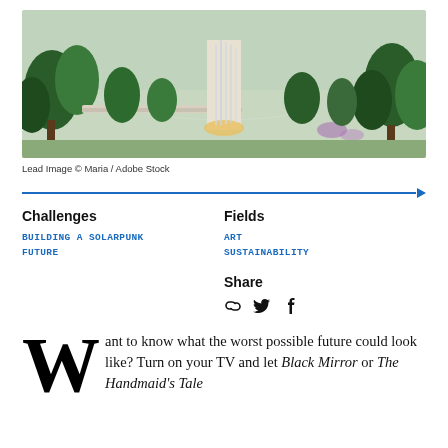[Figure (photo): Interior of a large greenhouse or airport atrium with a tall central waterfall, lush green trees, and a geodesic glass dome ceiling.]
Lead Image © Maria / Adobe Stock
Challenges
BUILDING A SOLARPUNK FUTURE
Fields
ART
SUSTAINABILITY
Share
Want to know what the worst possible future could look like? Turn on your TV and let Black Mirror or The Handmaid's Tale